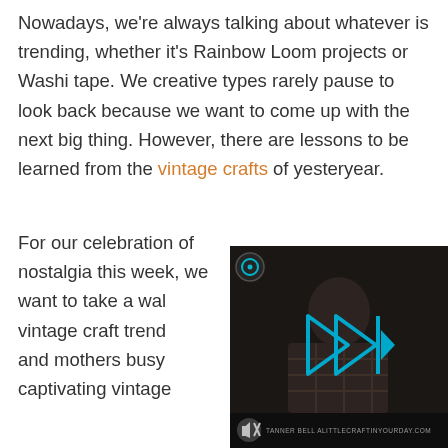Nowadays, we're always talking about whatever is trending, whether it's Rainbow Loom projects or Washi tape. We creative types rarely pause to look back because we want to come up with the next big thing. However, there are lessons to be learned from the vintage crafts of yesteryear.
For our celebration of nostalgia this week, we want to take a walk down memory lane. The vintage craft trends that kept grandmothers and mothers busy... captivating vintage...
[Figure (screenshot): Dark video overlay showing a person with a plaid shirt. Bottom bar shows 'TANNER BELL   ALITTLECRAFTINYOURDAY.COM' with a mute icon and a circular icon top-left. A cyan/blue play-forward icon is centered.]
Crafts of the past emphasized practicality and frugality. Many crafters took up skills like sewing or crocheting simply because these hobbies benefited their families, whereas today it's not as needed—you can get a cheap winter hat at Wal-